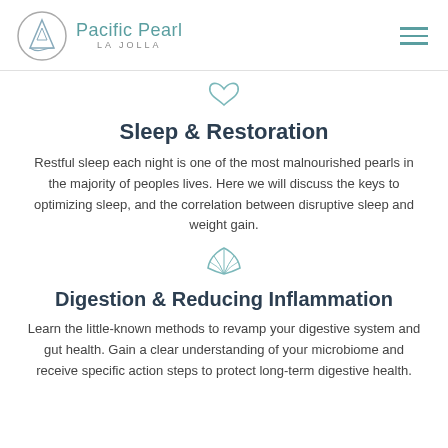Pacific Pearl LA JOLLA
[Figure (illustration): Teal decorative icon — stylized hands or leaf shape]
Sleep & Restoration
Restful sleep each night is one of the most malnourished pearls in the majority of peoples lives. Here we will discuss the keys to optimizing sleep, and the correlation between disruptive sleep and weight gain.
[Figure (illustration): Teal decorative icon — stylized shell shape]
Digestion & Reducing Inflammation
Learn the little-known methods to revamp your digestive system and gut health. Gain a clear understanding of your microbiome and receive specific action steps to protect long-term digestive health.